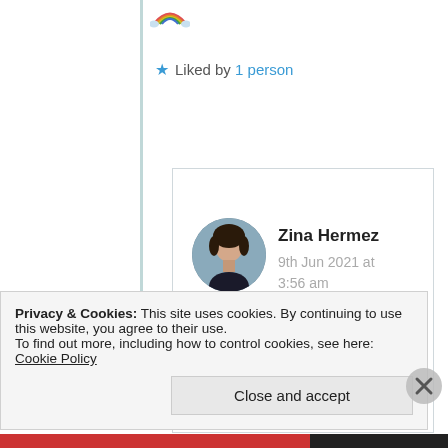[Figure (illustration): Rainbow/hat emoji icon at top left of comment thread]
★ Liked by 1 person
Log in to Reply
[Figure (photo): Circular avatar photo of Zina Hermez, a woman with dark hair]
Zina Hermez
9th Jun 2021 at 3:56 am
Aww, thank you! XOXO
Privacy & Cookies: This site uses cookies. By continuing to use this website, you agree to their use.
To find out more, including how to control cookies, see here: Cookie Policy
Close and accept